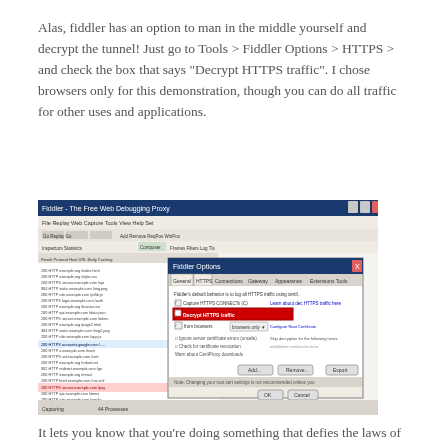Alas, fiddler has an option to man in the middle yourself and decrypt the tunnel! Just go to Tools > Fiddler Options > HTTPS > and check the box that says "Decrypt HTTPS traffic". I chose browsers only for this demonstration, though you can do all traffic for other uses and applications.
[Figure (screenshot): Screenshot of Fiddler application showing the main session list on the left and a Fiddler Options dialog open on the right, with the HTTPS tab selected. A red-highlighted checkbox shows 'Decrypt HTTPS traffic' option with 'from browsers only' selected.]
It lets you know that you're doing something that defies the laws of